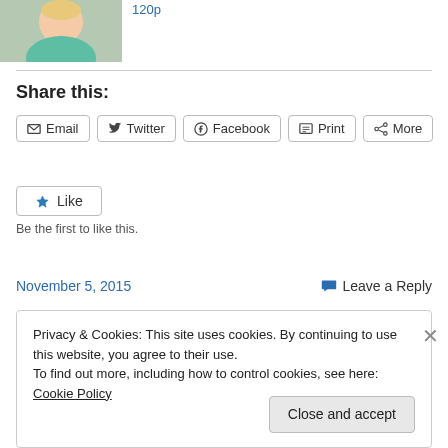[Figure (photo): Thumbnail photo of a person wearing a teal/mint top, cropped at top of page]
120p
Share this:
Email  Twitter  Facebook  Print  More
Like
Be the first to like this.
November 5, 2015
Leave a Reply
Privacy & Cookies: This site uses cookies. By continuing to use this website, you agree to their use.
To find out more, including how to control cookies, see here: Cookie Policy